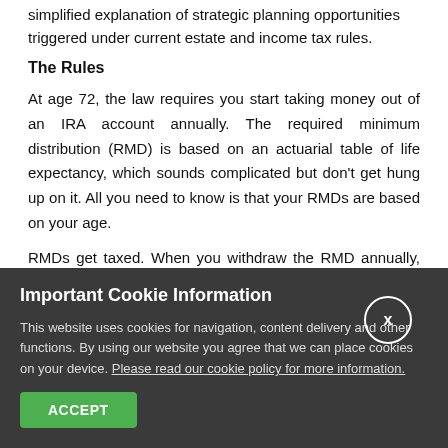simplified explanation of strategic planning opportunities triggered under current estate and income tax rules.
The Rules
At age 72, the law requires you start taking money out of an IRA account annually. The required minimum distribution (RMD) is based on an actuarial table of life expectancy, which sounds complicated but don't get hung up on it. All you need to know is that your RMDs are based on your age.
RMDs get taxed. When you withdraw the RMD annually, you will need to pay income tax on the amount withdrawn. A key aspect of IRA strategic tax planning is minimizing withdrawals on IRA
Important Cookie Information
This website uses cookies for navigation, content delivery and other functions. By using our website you agree that we can place cookies on your device. Please read our cookie policy for more information.
ACCEPT